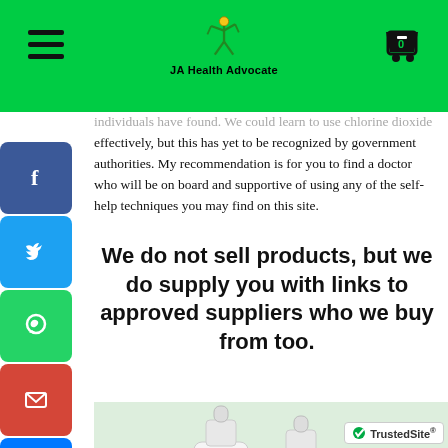JA Health Advocate
individuals have found. We could learn to use chlorine dioxide effectively, but this has yet to be recognized by government authorities. My recommendation is for you to find a doctor who will be on board and supportive of using any of the self-help techniques you may find on this site.
We do not sell products, but we do supply you with links to approved suppliers who we buy from too.
[Figure (photo): Two white dropper bottles of health supplement products on a light green background]
[Figure (logo): TrustedSite badge with green checkmark]